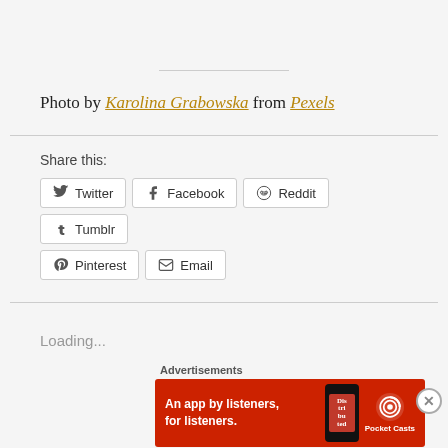Photo by Karolina Grabowska from Pexels
Share this:
[Figure (infographic): Social share buttons: Twitter, Facebook, Reddit, Tumblr, Pinterest, Email]
Loading...
Advertisements
[Figure (infographic): Pocket Casts advertisement banner: An app by listeners, for listeners.]